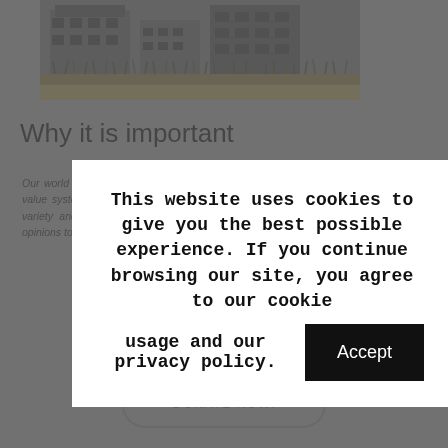[Figure (photo): Photograph of a building with dry vegetation/reeds in front, street visible at ground level]
Why it is important
Our world is a multifaceted place that consists of many different cultures, beliefs and value systems. It is important that this multitude is considered as a successful, rich variety and not as a failure of simplemindedness in order to encourage different opinions to peacefully coexist and develop themselves next to each other.
[Figure (other): Cookie consent dialog overlay: 'This website uses cookies to give you the best possible experience. If you continue browsing our site, you agree to our cookie usage and our privacy policy.' with an Accept button]
DONATE NOW!